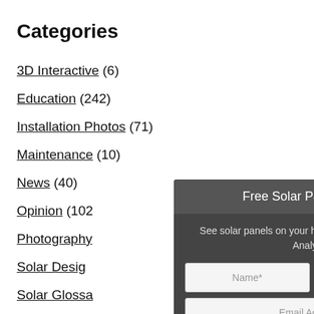Categories
3D Interactive (6)
Education (242)
Installation Photos (71)
Maintenance (10)
News (40)
Opinion (102)
Photography
Solar Design
Solar Glossa
Uncategoriz
[Figure (screenshot): Modal popup with title 'Free Solar Panel Layout!' and a chevron down icon. Contains text 'See solar panels on your home with a 3D Computer Analysis!' and a form with Name*, Phone Number*, Email Address* fields and a SUBMIT button. Footer text: 'Free for Southwest Florida Residents!']